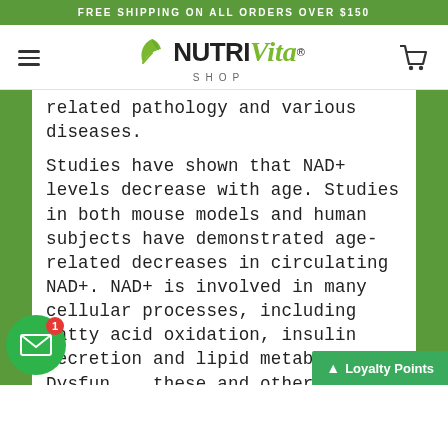FREE SHIPPING ON ALL ORDERS OVER $150
[Figure (logo): NutriVita Shop logo with green leaf icon, NUTRI in black bold, Vita in green italic, SHOP in grey spaced letters below]
related pathology and various diseases.
Studies have shown that NAD+ levels decrease with age. Studies in both mouse models and human subjects have demonstrated age-related decreases in circulating NAD+. NAD+ is involved in many cellular processes, including fatty acid oxidation, insulin secretion and lipid metabolism. Dysfunction of these and other NAD+ de...